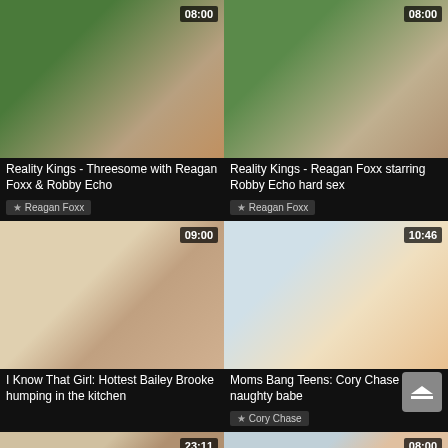[Figure (screenshot): Video thumbnail top-left outdoor scene]
Reality Kings - Threesome with Reagan Foxx & Robby Echo
★ Reagan Foxx
[Figure (screenshot): Video thumbnail top-right outdoor scene]
Reality Kings - Reagan Foxx starring Robby Echo hard sex
★ Reagan Foxx
[Figure (screenshot): Video thumbnail middle-left kitchen scene]
I Know That Girl: Hottest Bailey Brooke humping in the kitchen
[Figure (screenshot): Video thumbnail middle-right living room scene]
Moms Bang Teens: Cory Chase is so naughty babe
★ Cory Chase
[Figure (screenshot): Video thumbnail bottom-left partial]
[Figure (screenshot): Video thumbnail bottom-right partial]